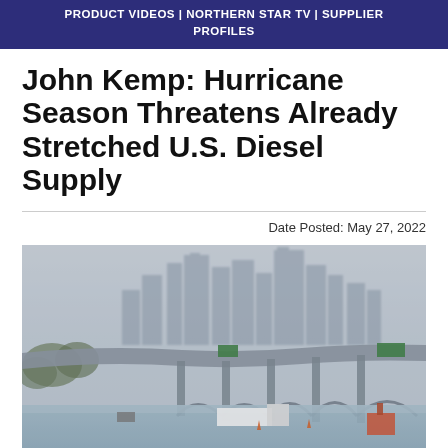PRODUCT VIDEOS | NORTHERN STAR TV | SUPPLIER PROFILES
John Kemp: Hurricane Season Threatens Already Stretched U.S. Diesel Supply
Date Posted: May 27, 2022
[Figure (photo): Aerial photograph of a flooded Houston highway interchange with standing water covering the road, vehicles stranded, and the downtown Houston skyline visible in the misty background. A large elevated highway overpass/bridge with arched concrete supports spans across the image.]